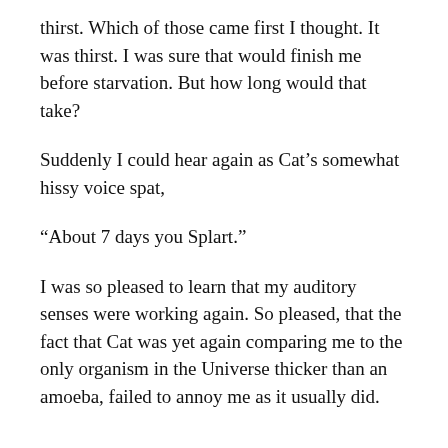thirst. Which of those came first I thought. It was thirst. I was sure that would finish me before starvation. But how long would that take?
Suddenly I could hear again as Cat's somewhat hissy voice spat,
“About 7 days you Splart.”
I was so pleased to learn that my auditory senses were working again. So pleased, that the fact that Cat was yet again comparing me to the only organism in the Universe thicker than an amoeba, failed to annoy me as it usually did.